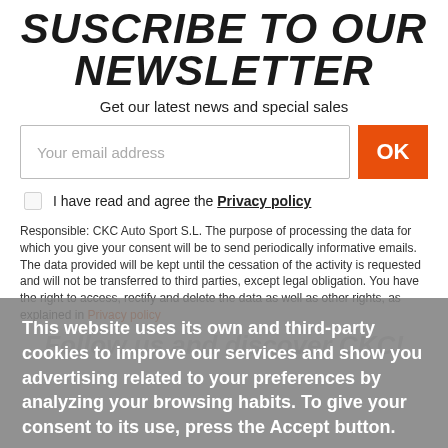SUSCRIBE TO OUR NEWSLETTER
Get our latest news and special sales
Your email address
OK
I have read and agree the Privacy policy
Responsible: CKC Auto Sport S.L. The purpose of processing the data for which you give your consent will be to send periodically informative emails. The data provided will be kept until the cessation of the activity is requested and will not be transferred to third parties, except legal obligation. You have the right to access, rectify and delete the data as well as other rights, as explained in Privacy policy
Follow us and discover CKC!
This website uses its own and third-party cookies to improve our services and show you advertising related to your preferences by analyzing your browsing habits. To give your consent to its use, press the Accept button.
More information   Customize Cookies
I ACCEPT